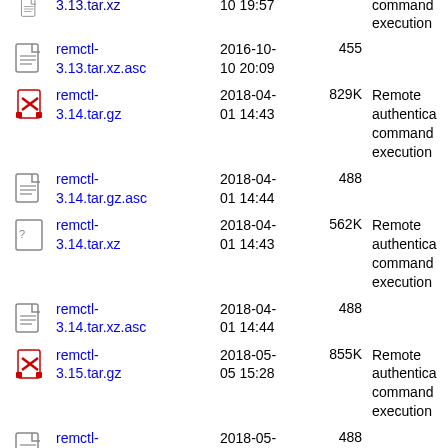remctl-3.13.tar.xz.asc  2016-10-10 20:09  455
remctl-3.14.tar.gz  2018-04-01 14:43  829K  Remote authenticated command execution
remctl-3.14.tar.gz.asc  2018-04-01 14:44  488
remctl-3.14.tar.xz  2018-04-01 14:43  562K  Remote authenticated command execution
remctl-3.14.tar.xz.asc  2018-04-01 14:44  488
remctl-3.15.tar.gz  2018-05-05 15:28  855K  Remote authenticated command execution
remctl-3.15.tar.gz.asc  2018-05-05 15:32  488
remctl-3.15.tar.xz  2018-05-05 15:28  575K  Remote authenticated command execution